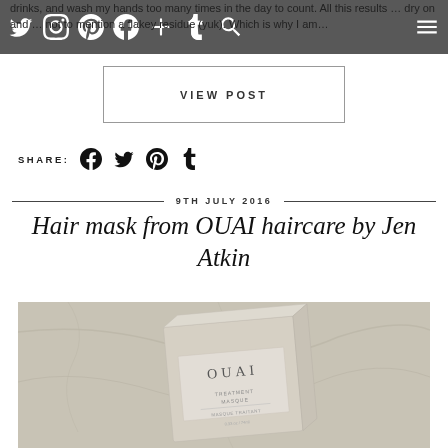Navigation bar with social/menu icons
drinks, and wash my hands too many times in the day to count. All this results in dry on and a flaky ... not to mention a flakey residue (yuk). Which is why I am…
VIEW POST
SHARE:
9TH JULY 2016
Hair mask from OUAI haircare by Jen Atkin
[Figure (photo): OUAI Treatment Masque product box on marble surface]